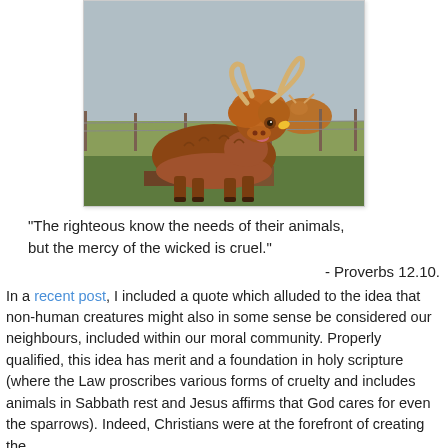[Figure (photo): A shaggy Highland cow with large curved horns standing in a grassy field with a fence in the background. Another cow is visible in the background.]
"The righteous know the needs of their animals, but the mercy of the wicked is cruel."
- Proverbs 12.10.
In a recent post, I included a quote which alluded to the idea that non-human creatures might also in some sense be considered our neighbours, included within our moral community. Properly qualified, this idea has merit and a foundation in holy scripture (where the Law proscribes various forms of cruelty and includes animals in Sabbath rest and Jesus affirms that God cares for even the sparrows). Indeed, Christians were at the forefront of creating the